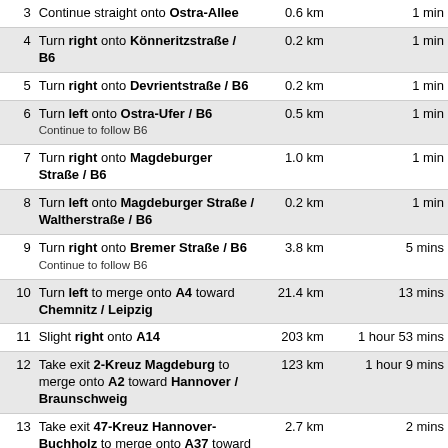| # | Direction | Distance | Time |
| --- | --- | --- | --- |
| 3 | Continue straight onto Ostra-Allee | 0.6 km | 1 min |
| 4 | Turn right onto Könneritzstraße / B6 | 0.2 km | 1 min |
| 5 | Turn right onto Devrientstraße / B6 | 0.2 km | 1 min |
| 6 | Turn left onto Ostra-Ufer / B6
Continue to follow B6 | 0.5 km | 1 min |
| 7 | Turn right onto Magdeburger Straße / B6 | 1.0 km | 1 min |
| 8 | Turn left onto Magdeburger Straße / Waltherstraße / B6 | 0.2 km | 1 min |
| 9 | Turn right onto Bremer Straße / B6
Continue to follow B6 | 3.8 km | 5 mins |
| 10 | Turn left to merge onto A4 toward Chemnitz / Leipzig | 21.4 km | 13 mins |
| 11 | Slight right onto A14 | 203 km | 1 hour 53 mins |
| 12 | Take exit 2-Kreuz Magdeburg to merge onto A2 toward Hannover / Braunschweig | 123 km | 1 hour 9 mins |
| 13 | Take exit 47-Kreuz Hannover-Buchholz to merge onto A37 toward Hannover | 2.7 km | 2 mins |
| 14 | Continue onto B3 | 5.4 km | 4 mins |